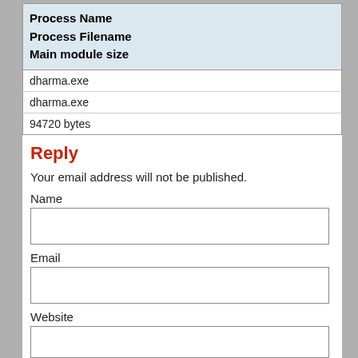| Process Name
Process Filename
Main module size |
| --- |
| dharma.exe |
| dharma.exe |
| 94720 bytes |
Reply
Your email address will not be published.
Name
Email
Website